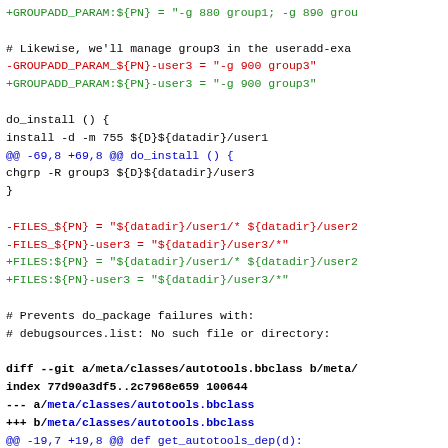Code diff showing changes to useradd and autotools bbclass files including GROUPADD_PARAM, FILES, DEPENDS_prepend variable syntax updates